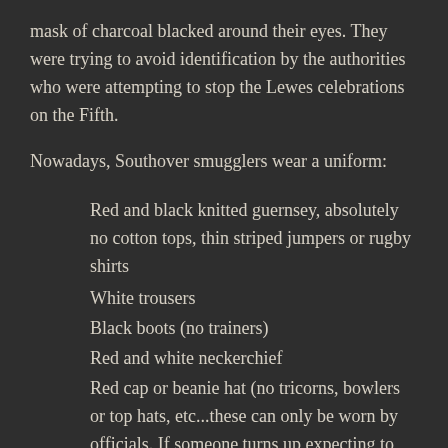mask of charcoal blacked around their eyes. They were trying to avoid identification by the authorities who were attempting to stop the Lewes celebrations on the Fifth.
Nowadays, Southover smugglers wear a uniform:
Red and black knitted guernsey, absolutely no cotton tops, thin striped jumpers or rugby shirts
White trousers
Black boots (no trainers)
Red and white neckerchief
Red cap or beanie hat (no tricorns, bowlers or top hats, etc...these can only be worn by officials. If someone turns up expecting to process in an inappropriate hat, they will be asked to remove it,